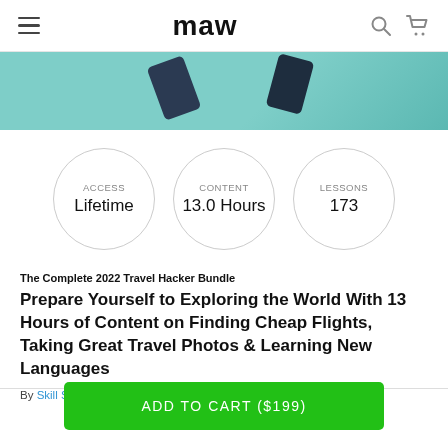maw
[Figure (illustration): Teal/turquoise banner with two dark smartphone shapes on a mint green background]
[Figure (infographic): Three circles showing: ACCESS Lifetime | CONTENT 13.0 Hours | LESSONS 173]
The Complete 2022 Travel Hacker Bundle
Prepare Yourself to Exploring the World With 13 Hours of Content on Finding Cheap Flights, Taking Great Travel Photos & Learning New Languages
By Skill Success | in Apps + Software